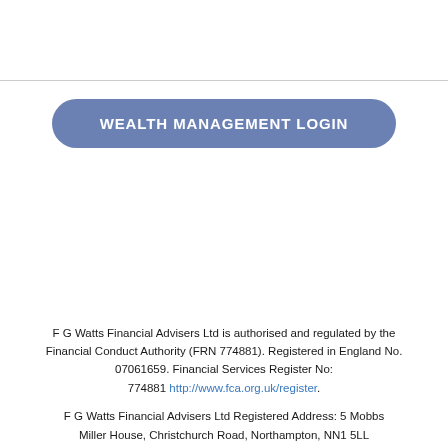[Figure (other): Blue rounded rectangle button labeled 'WEALTH MANAGEMENT LOGIN']
F G Watts Financial Advisers Ltd is authorised and regulated by the Financial Conduct Authority (FRN 774881). Registered in England No. 07061659. Financial Services Register No: 774881 http://www.fca.org.uk/register.
F G Watts Financial Advisers Ltd Registered Address: 5 Mobbs Miller House, Christchurch Road, Northampton, NN1 5LL